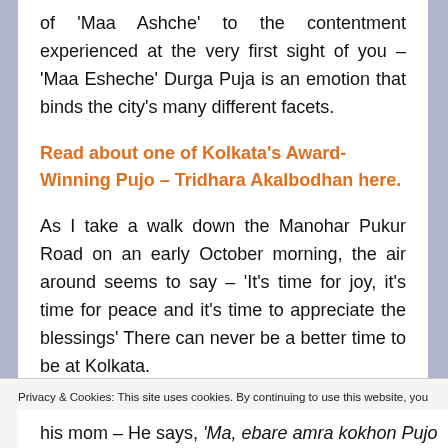of 'Maa Ashche' to the contentment experienced at the very first sight of you – 'Maa Esheche' Durga Puja is an emotion that binds the city's many different facets.
Read about one of Kolkata's Award-Winning Pujo – Tridhara Akalbodhan here.
As I take a walk down the Manohar Pukur Road on an early October morning, the air around seems to say – 'It's time for joy, it's time for peace and it's time to appreciate the blessings' There can never be a better time to be at Kolkata.
Privacy & Cookies: This site uses cookies. By continuing to use this website, you agree to their use.
To find out more, including how to control cookies, see here: Cookie Policy
Close and accept
his mom – He says, 'Ma, ebare amra kokhon Pujo